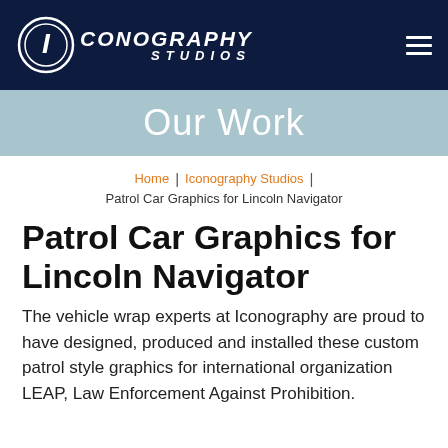Iconography Studios
Our Work
Home | Iconography Studios | Patrol Car Graphics for Lincoln Navigator
Patrol Car Graphics for Lincoln Navigator
The vehicle wrap experts at Iconography are proud to have designed, produced and installed these custom patrol style graphics for international organization LEAP, Law Enforcement Against Prohibition.